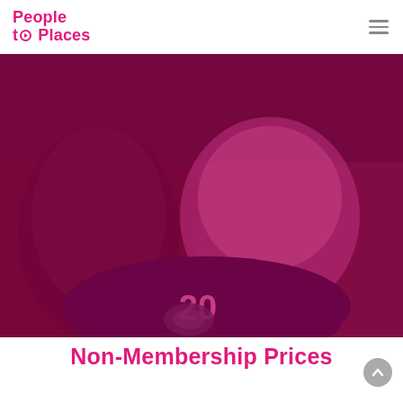People to Places
[Figure (photo): Two women sitting on a scooter/moped numbered '20', one wearing a People to Places branded white t-shirt and the other in a floral dress. The image has a deep pink/magenta colour overlay.]
Non-Membership Prices